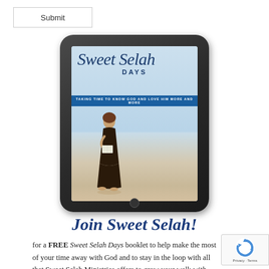[Figure (screenshot): A Submit button with a rectangular border on white background]
[Figure (illustration): A tablet device displaying the cover of 'Sweet Selah Days: Taking Time to Know God and Love Him More and More' booklet. The cover shows a woman standing on a beach holding a book, with ocean water in the background. The title is in a script/cursive font with 'DAYS' in block letters below.]
Join Sweet Selah!
for a FREE Sweet Selah Days booklet to help make the most of your time away with God and to stay in the loop with all that Sweet Selah Ministries offers to grow your walk with God.